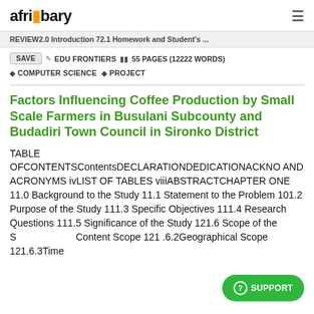afribary
REVIEW2.0 Introduction 72.1 Homework and Student's ...
SAVE  EDU FRONTIERS  55 PAGES (12222 WORDS)
COMPUTER SCIENCE  PROJECT
Factors Influencing Coffee Production by Small Scale Farmers in Busulani Subcounty and Budadiri Town Council in Sironko District
TABLE OFCONTENTSContentsDECLARATIONDEDICATIONACKNO AND ACRONYMS ivLIST OF TABLES viiiABSTRACTCHAPTER ONE 11.0 Background to the Study 11.1 Statement to the Problem 101.2 Purpose of the Study 111.3 Specific Objectives 111.4 Research Questions 111.5 Significance of the Study 121.6 Scope of the S Content Scope 121 .6.2Geographical Scope 121.6.3Time